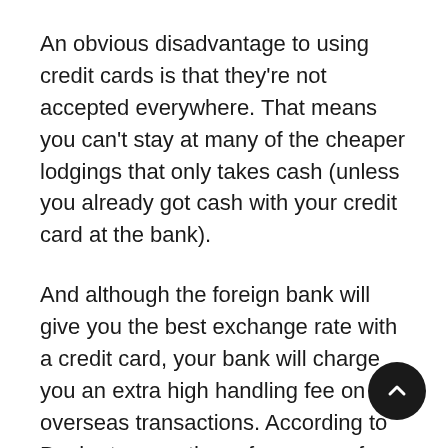An obvious disadvantage to using credit cards is that they're not accepted everywhere. That means you can't stay at many of the cheaper lodgings that only takes cash (unless you already got cash with your credit card at the bank).
And although the foreign bank will give you the best exchange rate with a credit card, your bank will charge you an extra high handling fee on overseas transactions. According to Bankrate.com, these fees range from 1 percent for Visa and MasterCard to 2 percent for CitiBank, Chase Manhattan, Bank One, Bank of America, Providian, and Wells Fargo. Capital One, SunTrust, and First Union/Wachovia are